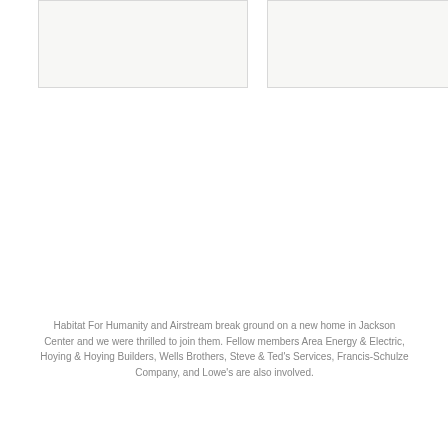[Figure (photo): Left photo placeholder - light gray rectangle]
[Figure (photo): Right photo placeholder - light gray rectangle]
Habitat For Humanity and Airstream break ground on a new home in Jackson Center and we were thrilled to join them. Fellow members Area Energy & Electric, Hoying & Hoying Builders, Wells Brothers, Steve & Ted's Services, Francis-Schulze Company, and Lowe's are also involved.